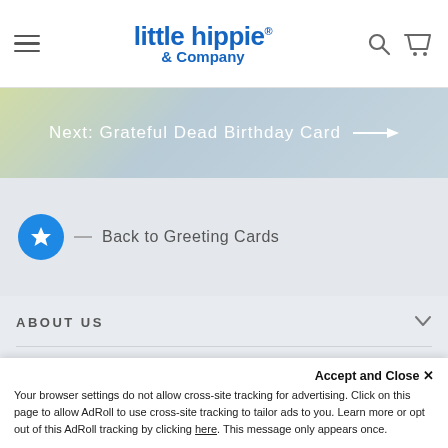[Figure (screenshot): Website header with hamburger menu, Little Hippie & Company logo in blue, search and cart icons]
[Figure (screenshot): Next: Grateful Dead Birthday Card banner with arrow pointing right over illustrated background]
[Figure (screenshot): Back to Greeting Cards section with blue star circle icon and dash]
ABOUT US
HERE TO HELP
Accept and Close ✕
Your browser settings do not allow cross-site tracking for advertising. Click on this page to allow AdRoll to use cross-site tracking to tailor ads to you. Learn more or opt out of this AdRoll tracking by clicking here. This message only appears once.